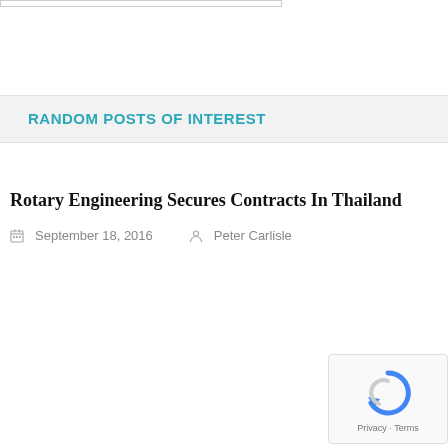RANDOM POSTS OF INTEREST
Rotary Engineering Secures Contracts In Thailand
September 18, 2016   Peter Carlisle
[Figure (logo): reCAPTCHA logo with Privacy and Terms text]